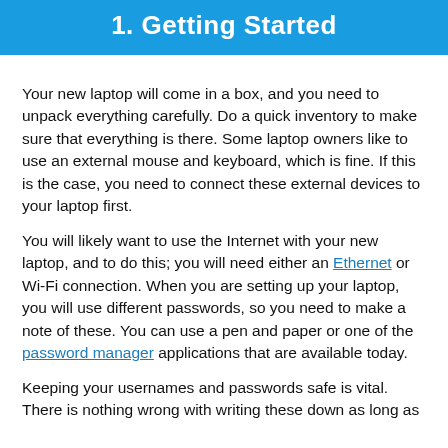1. Getting Started
Your new laptop will come in a box, and you need to unpack everything carefully. Do a quick inventory to make sure that everything is there. Some laptop owners like to use an external mouse and keyboard, which is fine. If this is the case, you need to connect these external devices to your laptop first.
You will likely want to use the Internet with your new laptop, and to do this; you will need either an Ethernet or Wi-Fi connection. When you are setting up your laptop, you will use different passwords, so you need to make a note of these. You can use a pen and paper or one of the password manager applications that are available today.
Keeping your usernames and passwords safe is vital. There is nothing wrong with writing these down as long as